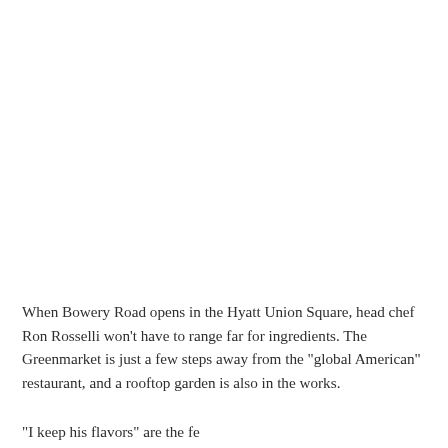When Bowery Road opens in the Hyatt Union Square, head chef Ron Rosselli won’t have to range far for ingredients. The Greenmarket is just a few steps away from the “global American” restaurant, and a rooftop garden is also in the works.
“I keep his flavors” … theeferr